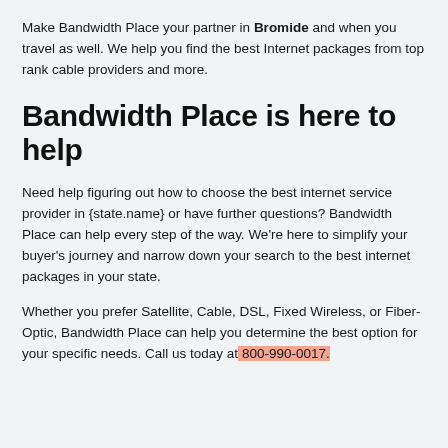Make Bandwidth Place your partner in Bromide and when you travel as well. We help you find the best Internet packages from top rank cable providers and more.
Bandwidth Place is here to help
Need help figuring out how to choose the best internet service provider in {state.name} or have further questions? Bandwidth Place can help every step of the way. We're here to simplify your buyer's journey and narrow down your search to the best internet packages in your state.
Whether you prefer Satellite, Cable, DSL, Fixed Wireless, or Fiber-Optic, Bandwidth Place can help you determine the best option for your specific needs. Call us today at 800-990-0017.